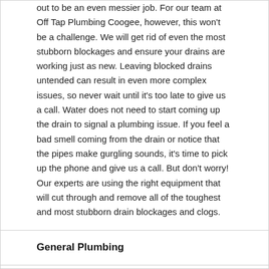out to be an even messier job. For our team at Off Tap Plumbing Coogee, however, this won't be a challenge. We will get rid of even the most stubborn blockages and ensure your drains are working just as new. Leaving blocked drains untended can result in even more complex issues, so never wait until it's too late to give us a call. Water does not need to start coming up the drain to signal a plumbing issue. If you feel a bad smell coming from the drain or notice that the pipes make gurgling sounds, it's time to pick up the phone and give us a call. But don't worry! Our experts are using the right equipment that will cut through and remove all of the toughest and most stubborn drain blockages and clogs.
General Plumbing
Hot Water